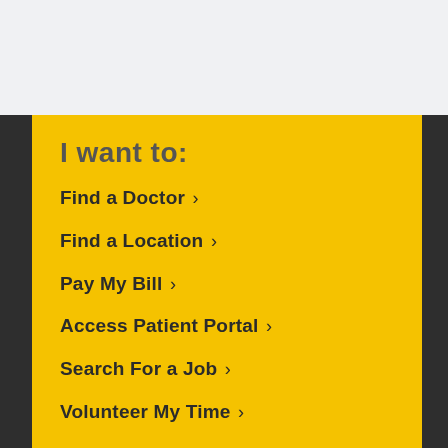I want to:
Find a Doctor ›
Find a Location ›
Pay My Bill ›
Access Patient Portal ›
Search For a Job ›
Volunteer My Time ›
Subscribe for Health Tips ›